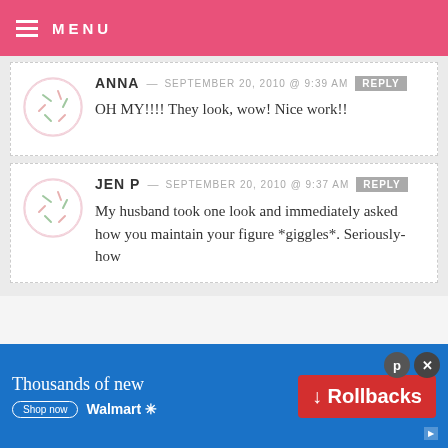MENU
ANNA — SEPTEMBER 20, 2010 @ 9:39 AM REPLY
OH MY!!!! They look, wow! Nice work!!
JEN P — SEPTEMBER 20, 2010 @ 9:37 AM REPLY
My husband took one look and immediately asked how you maintain your figure *giggles*. Seriously- how
[Figure (other): Walmart Rollbacks advertisement banner: blue background with text 'Thousands of new', red Rollbacks button, Shop now button, and Walmart logo]